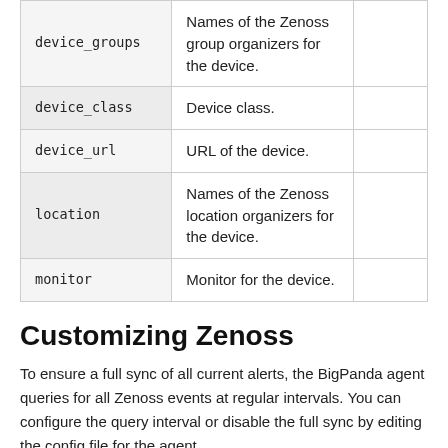| Field | Description |  |
| --- | --- | --- |
| device_groups | Names of the Zenoss group organizers for the device. |  |
| device_class | Device class. |  |
| device_url | URL of the device. |  |
| location | Names of the Zenoss location organizers for the device. |  |
| monitor | Monitor for the device. |  |
Customizing Zenoss
To ensure a full sync of all current alerts, the BigPanda agent queries for all Zenoss events at regular intervals. You can configure the query interval or disable the full sync by editing the config file for the agent.
Before You Start...